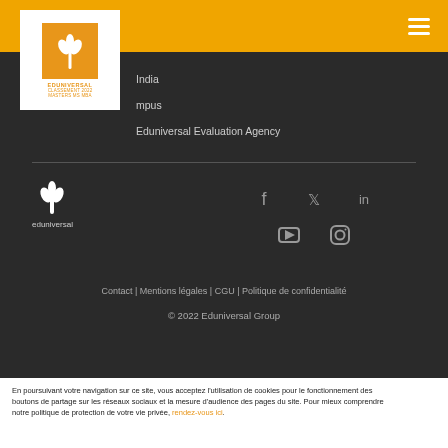[Figure (logo): Eduniversal logo with wheat-like icon, orange and white, with text EDUNIVERSAL CLASSEMENT 2022 MASTERS MS MBA]
India
mpus
Eduniversal Evaluation Agency
[Figure (logo): Eduniversal white logo icon with text eduniversal below]
[Figure (other): Social media icons: Facebook, Twitter, LinkedIn, YouTube, Instagram]
Contact | Mentions légales | CGU | Politique de confidentialité
© 2022 Eduniversal Group
En poursuivant votre navigation sur ce site, vous acceptez l'utilisation de cookies pour le fonctionnement des boutons de partage sur les réseaux sociaux et la mesure d'audience des pages du site. Pour mieux comprendre notre politique de protection de votre vie privée, rendez-vous ici.